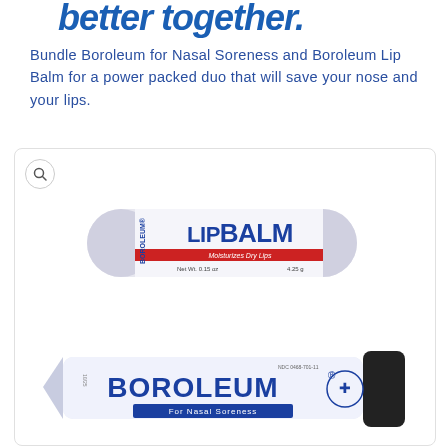better together.
Bundle Boroleum for Nasal Soreness and Boroleum Lip Balm for a power packed duo that will save your nose and your lips.
[Figure (photo): Product photo showing two Boroleum products: a Boroleum Lip Balm stick (white tube, Net Wt. 0.15 oz / 4.25g, Moisturizes Dry Lips) and a Boroleum For Nasal Soreness tube (white squeeze tube with blue text and black cap), displayed in a white rounded-rectangle bordered box with a magnify icon in the top-left corner.]